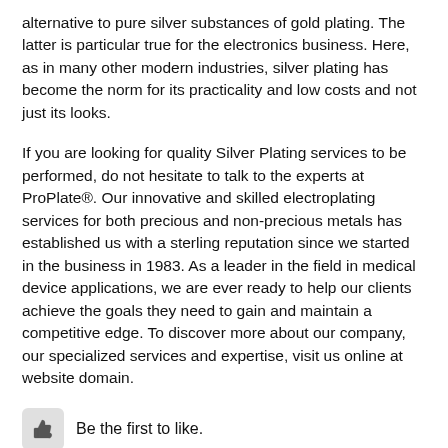alternative to pure silver substances of gold plating. The latter is particular true for the electronics business. Here, as in many other modern industries, silver plating has become the norm for its practicality and low costs and not just its looks.
If you are looking for quality Silver Plating services to be performed, do not hesitate to talk to the experts at ProPlate®. Our innovative and skilled electroplating services for both precious and non-precious metals has established us with a sterling reputation since we started in the business in 1983. As a leader in the field in medical device applications, we are ever ready to help our clients achieve the goals they need to gain and maintain a competitive edge. To discover more about our company, our specialized services and expertise, visit us online at website domain.
[Figure (other): Thumbs up icon button (like button)]
Be the first to like.
Like